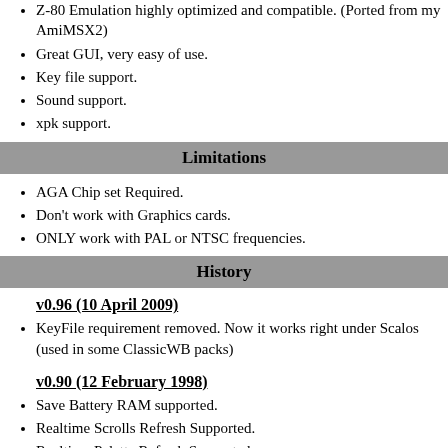Z-80 Emulation highly optimized and compatible. (Ported from my AmiMSX2)
Great GUI, very easy of use.
Key file support.
Sound support.
xpk support.
Limitations
AGA Chip set Required.
Don't work with Graphics cards.
ONLY work with PAL or NTSC frequencies.
History
v0.96 (10 April 2009)
KeyFile requirement removed. Now it works right under Scalos (used in some ClassicWB packs)
v0.90 (12 February 1998)
Save Battery RAM supported.
Realtime Scrolls Refresh Supported.
Realtime Palette Refresh Supported.
Line Interrupts support.